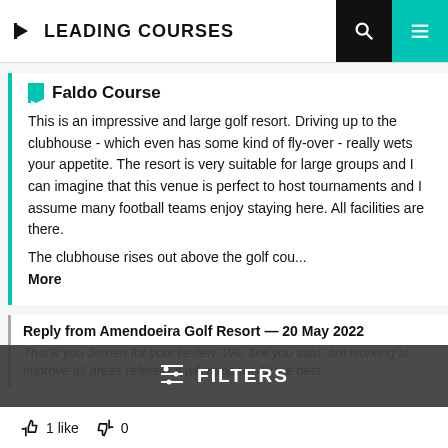LEADING COURSES
Faldo Course
This is an impressive and large golf resort. Driving up to the clubhouse - which even has some kind of fly-over - really wets your appetite. The resort is very suitable for large groups and I can imagine that this venue is perfect to host tournaments and I assume many football teams enjoy staying here. All facilities are there.
The clubhouse rises out above the golf cou...
More
Reply from Amendoeira Golf Resort — 20 May 2022
Thank you Jeroen for your review. We, like you said, are working to improve all areas refered! It will happen! All the best.
1 like   0